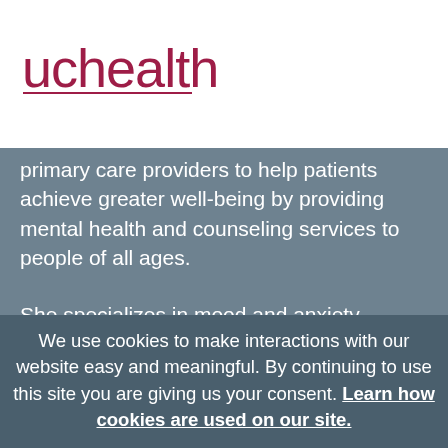[Figure (logo): UCHealth logo — lowercase 'uchealth' in dark crimson/maroon with a horizontal underline beneath the text]
primary care providers to help patients achieve greater well-being by providing mental health and counseling services to people of all ages.
She specializes in mood and anxiety disorders, chronic health conditions, interpersonal relationship difficulties and more. She is also an Assistant Professor in Family Medicine at the University of Colorado School of Medicine on the
We use cookies to make interactions with our website easy and meaningful. By continuing to use this site you are giving us your consent. Learn how cookies are used on our site.
Accept terms
enjoys walking, hiking, traveling, listening to podcasts and trying new recipes. She and her husband spend most of